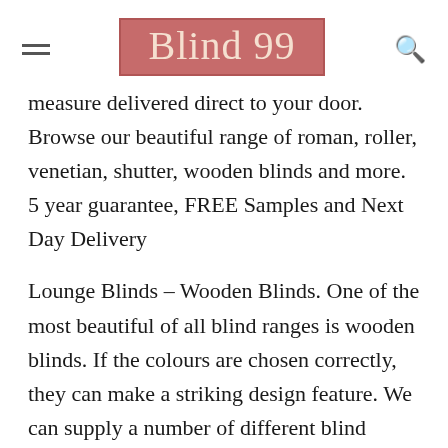Blind 99
measure delivered direct to your door. Browse our beautiful range of roman, roller, venetian, shutter, wooden blinds and more. 5 year guarantee, FREE Samples and Next Day Delivery
Lounge Blinds – Wooden Blinds. One of the most beautiful of all blind ranges is wooden blinds. If the colours are chosen correctly, they can make a striking design feature. We can supply a number of different blind ranges, in a huge array of colours; from simple whites and creams, through to dark wood tones. Made to order wooden blinds